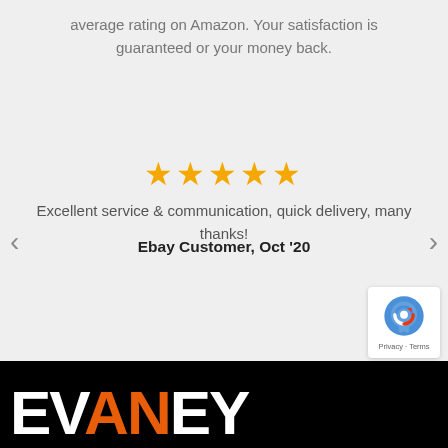average rating on Amazon. Your satisfaction is guaranteed or your money back.
[Figure (other): Five gold star rating icons]
Excellent service & communication, quick delivery, many thanks!
Ebay Customer, Oct '20
[Figure (logo): EVANEY logo in white and orange on black background]
[Figure (other): reCAPTCHA badge with Privacy and Terms links]